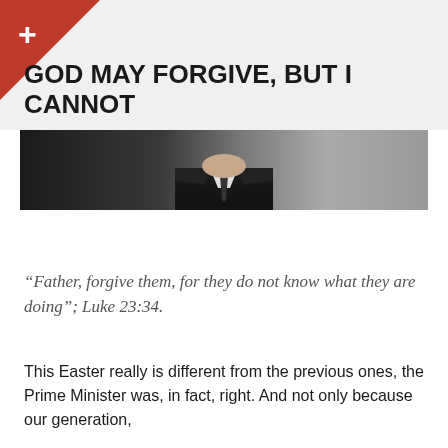GOD MAY FORGIVE, BUT I CANNOT
[Figure (photo): Cropped photo of a man in a suit and tie, showing from chin to chest, against a dark gradient background]
“Father, forgive them, for they do not know what they are doing”; Luke 23:34.
This Easter really is different from the previous ones, the Prime Minister was, in fact, right. And not only because our generation,